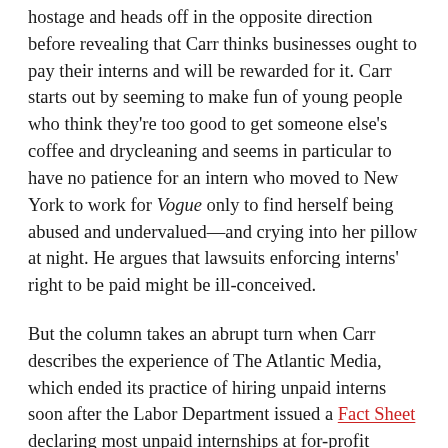hostage and heads off in the opposite direction before revealing that Carr thinks businesses ought to pay their interns and will be rewarded for it. Carr starts out by seeming to make fun of young people who think they're too good to get someone else's coffee and drycleaning and seems in particular to have no patience for an intern who moved to New York to work for Vogue only to find herself being abused and undervalued—and crying into her pillow at night. He argues that lawsuits enforcing interns' right to be paid might be ill-conceived.
But the column takes an abrupt turn when Carr describes the experience of The Atlantic Media, which ended its practice of hiring unpaid interns soon after the Labor Department issued a Fact Sheet declaring most unpaid internships at for-profit companies illegal. The Atlantic began paying its interns (Carr doesn't mention that it provided backpay to previous interns who had been unpaid) rather than doing away with internships altogether. It